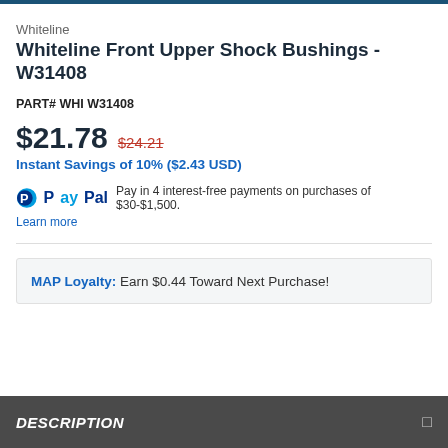Whiteline
Whiteline Front Upper Shock Bushings - W31408
PART# WHI W31408
$21.78  $24.21
Instant Savings of 10% ($2.43 USD)
PayPal  Pay in 4 interest-free payments on purchases of $30-$1,500.
Learn more
MAP Loyalty: Earn $0.44 Toward Next Purchase!
DESCRIPTION